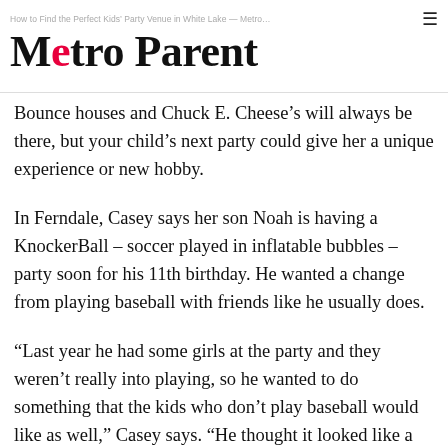Metro Parent — How to Find the Perfect Kids' Party Venue in White Lake — Metro...
Metro Parent
Bounce houses and Chuck E. Cheese's will always be there, but your child's next party could give her a unique experience or new hobby.
In Ferndale, Casey says her son Noah is having a KnockerBall – soccer played in inflatable bubbles – party soon for his 11th birthday. He wanted a change from playing baseball with friends like he usually does.
“Last year he had some girls at the party and they weren’t really into playing, so he wanted to do something that the kids who don’t play baseball would like as well,” Casey says. “He thought it looked like a great time. It’s also new so he